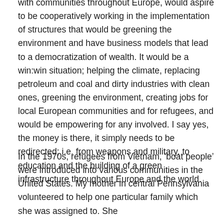with communities throughout Europe, would aspire to be cooperatively working in the implementation of structures that would be greening the environment and have business models that lead to a democratization of wealth. It would be a win:win situation; helping the climate, replacing petroleum and coal and dirty industries with clean ones, greening the environment, creating jobs for local European communities and for refugees, and would be empowering for any involved. I say yes, the money is there, it simply needs to be redirected; i.e. from weapons and military, to education and the building of a green infrastructure throughout Europe and the world.
In the 1970s, refugees from Vietnam, ‘boat people’ were introduced into various communities in the United States. My mother in central Pennsylvania volunteered to help one particular family which she was assigned to. She